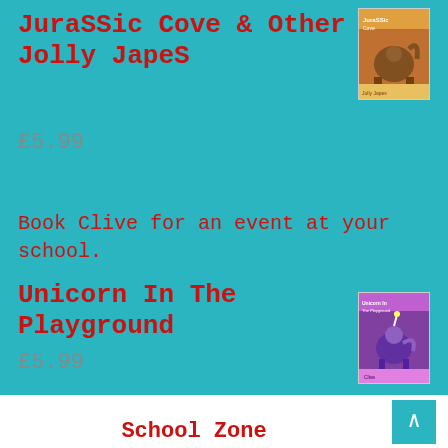JuraSSic Cove & Other Jolly JapeS
£5.99
[Figure (illustration): Book cover for JuraSSic Cove & Other Jolly JapeS showing a dinosaur scene with orange/brown tones]
Unicorn In The Playground
£5.99
[Figure (illustration): Book cover for Unicorn In The Playground showing colorful characters with purple/magenta tones]
Contact
Book Clive for an event at your school.
School Zone